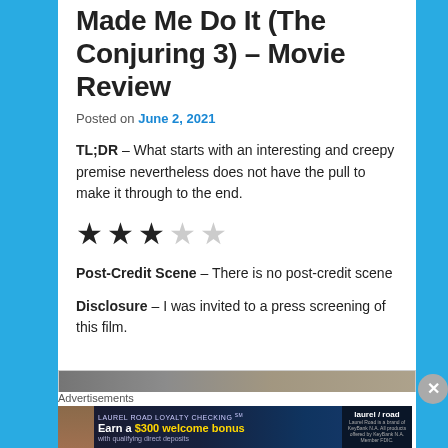Made Me Do It (The Conjuring 3) – Movie Review
Posted on June 2, 2021
TL;DR – What starts with an interesting and creepy premise nevertheless does not have the pull to make it through to the end.
[Figure (other): Star rating: 3 out of 5 stars (3 filled black stars, 2 empty grey stars)]
Post-Credit Scene – There is no post-credit scene
Disclosure – I was invited to a press screening of this film.
[Figure (photo): Partially visible movie image at the bottom of the content area]
Advertisements
[Figure (other): Laurel Road banner advertisement: Earn a $300 welcome bonus with qualifying direct deposits. Laurel Road logo on right side.]